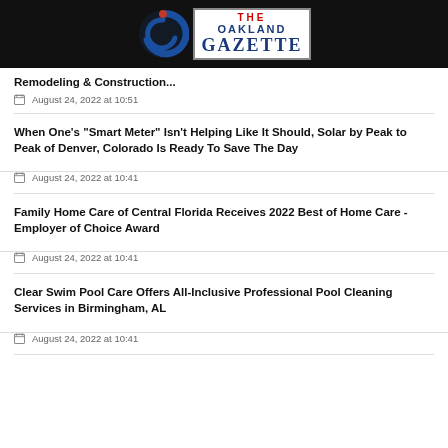The Oakland Gazette
Remodeling & Construction...
August 24, 2022 at 10:51
When One's "Smart Meter" Isn't Helping Like It Should, Solar by Peak to Peak of Denver, Colorado Is Ready To Save The Day
August 24, 2022 at 10:41
Family Home Care of Central Florida Receives 2022 Best of Home Care - Employer of Choice Award
August 24, 2022 at 10:41
Clear Swim Pool Care Offers All-Inclusive Professional Pool Cleaning Services in Birmingham, AL
August 24, 2022 at 10:41